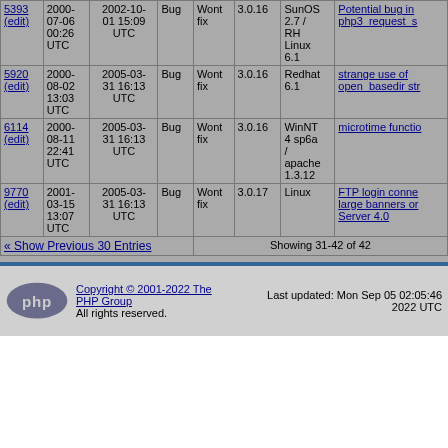| ID | Date | Updated | Type | Status | PHP Ver | OS | Summary |
| --- | --- | --- | --- | --- | --- | --- | --- |
| 5393 (edit) | 2000-07-06 00:26 UTC | 2002-10-01 15:09 UTC | Bug | Wont fix | 3.0.16 | SunOS 2.7 / RH Linux 6.1 | Potential bug in php3_request_s |
| 5920 (edit) | 2000-08-02 13:03 UTC | 2005-03-31 16:13 UTC | Bug | Wont fix | 3.0.16 | Redhat 6.1 | strange use of open_basedir str |
| 6114 (edit) | 2000-08-11 22:41 UTC | 2005-03-31 16:13 UTC | Bug | Wont fix | 3.0.16 | WinNT 4 sp6a / apache 1.3.12 | microtime functio |
| 9770 (edit) | 2001-03-15 13:07 UTC | 2005-03-31 16:13 UTC | Bug | Wont fix | 3.0.17 | Linux | FTP login conne large banners or Server 4.0 |
« Show Previous 30 Entries    Showing 31-42 of 42
Copyright © 2001-2022 The PHP Group. All rights reserved. Last updated: Mon Sep 05 02:05:46 2022 UTC